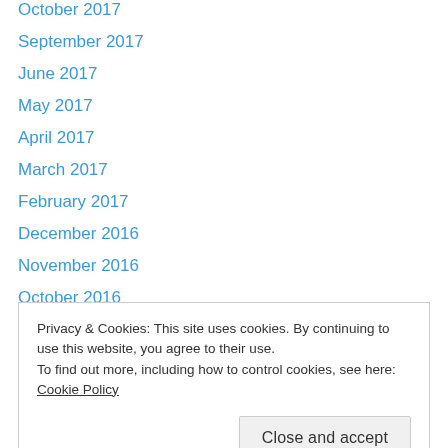October 2017
September 2017
June 2017
May 2017
April 2017
March 2017
February 2017
December 2016
November 2016
October 2016
September 2016
June 2016
May 2016
February 2016
Privacy & Cookies: This site uses cookies. By continuing to use this website, you agree to their use. To find out more, including how to control cookies, see here: Cookie Policy
July 2015